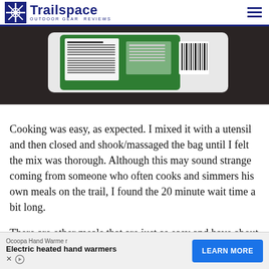Trailspace OUTDOOR GEAR REVIEWS
[Figure (photo): Close-up photo of the back of a green freeze-dried meal pouch showing nutrition facts label and barcode, placed on a dark surface.]
Cooking was easy, as expected. I mixed it with a utensil and then closed and shook/massaged the bag until I felt the mix was thorough. Although this may sound strange coming from someone who often cooks and simmers his own meals on the trail, I found the 20 minute wait time a bit long.
There are other meals that are just as easy and have about
Ocoopa Hand Warmer Electric heated hand warmers LEARN MORE